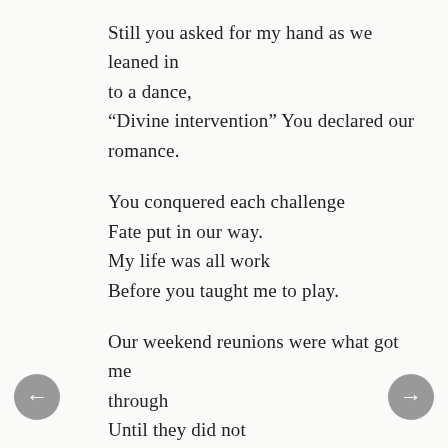Still you asked for my hand as we leaned in to a dance,
“Divine intervention” You declared our romance.
You conquered each challenge
Fate put in our way.
My life was all work
Before you taught me to play.
Our weekend reunions were what got me through
Until they did not
I had fallen for you.
The time was too plenty
The miles too great,
The days were too many